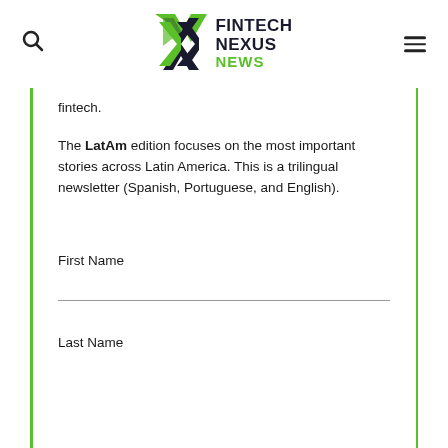Fintech Nexus News
fintech.
The LatAm edition focuses on the most important stories across Latin America. This is a trilingual newsletter (Spanish, Portuguese, and English).
First Name
Last Name